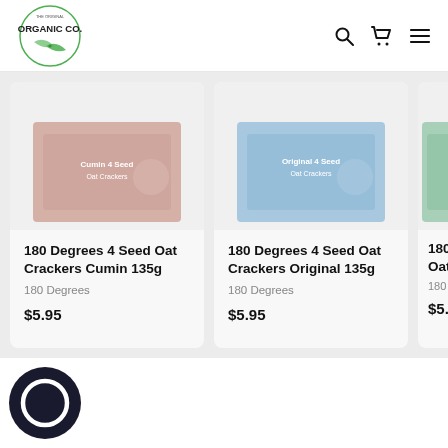[Figure (logo): The Original Organic Co. circular green logo with leaves]
[Figure (screenshot): Navigation icons: search, cart, and hamburger menu]
[Figure (photo): Product image for 180 Degrees 4 Seed Oat Crackers Cumin - pinkish/salmon colored product image]
180 Degrees 4 Seed Oat Crackers Cumin 135g
180 Degrees
$5.95
[Figure (photo): Product image for 180 Degrees 4 Seed Oat Crackers Original - light blue colored product image]
180 Degrees 4 Seed Oat Crackers Original 135g
180 Degrees
$5.95
[Figure (photo): Partially visible product card - 180 Degrees Oat Crackers, green product image, $5.95]
180 D...
180 Deg
$5.95
[Figure (other): Dark circular chat/messenger widget icon at bottom left]